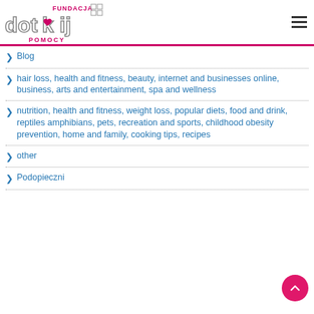[Figure (logo): Fundacja Dotknij Pomocy logo with stylized text and heart symbol]
Blog
hair loss, health and fitness, beauty, internet and businesses online, business, arts and entertainment, spa and wellness
nutrition, health and fitness, weight loss, popular diets, food and drink, reptiles amphibians, pets, recreation and sports, childhood obesity prevention, home and family, cooking tips, recipes
other
Podopieczni